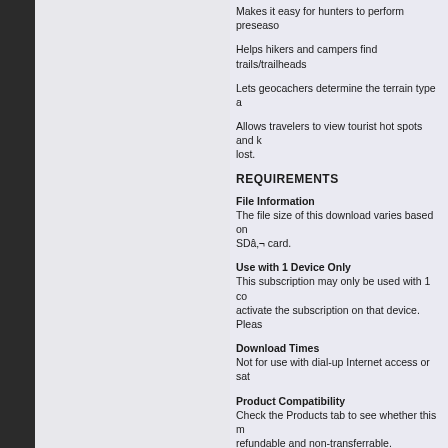Makes it easy for hunters to perform preseaso
Helps hikers and campers find trails/trailheads
Lets geocachers determine the terrain type a
Allows travelers to view tourist hot spots and keep from getting lost.
REQUIREMENTS
File Information
The file size of this download varies based on SDâ‚¬ card.
Use with 1 Device Only
This subscription may only be used with 1 co activate the subscription on that device. Pleas
Download Times
Not for use with dial-up Internet access or sat
Product Compatibility
Check the Products tab to see whether this m refundable and non-transferrable.
Expiration Date
The subscription lasts 1 year from the activati
Minimum Requirements
You must have Garmin's free software BaseC this subscription. You also need a myGarmi